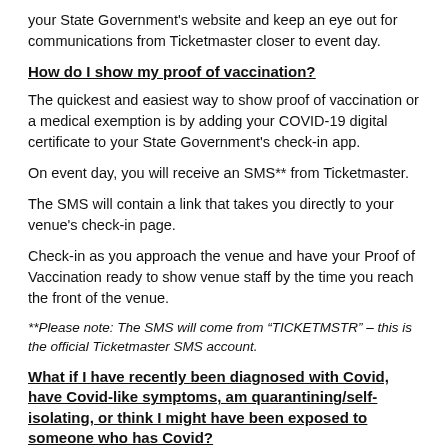your State Government's website and keep an eye out for communications from Ticketmaster closer to event day.
How do I show my proof of vaccination?
The quickest and easiest way to show proof of vaccination or a medical exemption is by adding your COVID-19 digital certificate to your State Government's check-in app.
On event day, you will receive an SMS** from Ticketmaster.
The SMS will contain a link that takes you directly to your venue's check-in page.
Check-in as you approach the venue and have your Proof of Vaccination ready to show venue staff by the time you reach the front of the venue.
**Please note: The SMS will come from “TICKETMSTR” – this is the official Ticketmaster SMS account.
What if I have recently been diagnosed with Covid, have Covid-like symptoms, am quarantining/self-isolating, or think I might have been exposed to someone who has Covid?